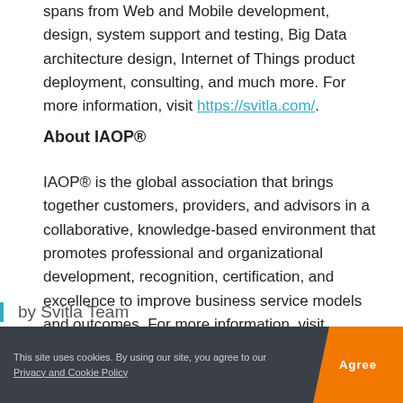spans from Web and Mobile development, design, system support and testing, Big Data architecture design, Internet of Things product deployment, consulting, and much more. For more information, visit https://svitla.com/.
About IAOP®
IAOP® is the global association that brings together customers, providers, and advisors in a collaborative, knowledge-based environment that promotes professional and organizational development, recognition, certification, and excellence to improve business service models and outcomes. For more information, visit www.IAOP.org.
by Svitla Team
This site uses cookies. By using our site, you agree to our Privacy and Cookie Policy   Agree